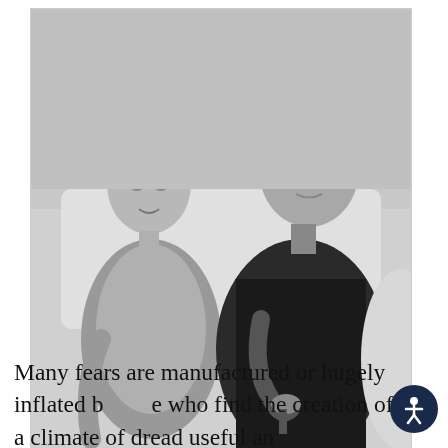[Figure (photo): Black and white photograph of two men seated. The late Jesuit Father Daniel Berrigan (left), a younger man looking to the side, and Thomas Merton (right), an older man in a dark turtleneck, holding something in his hand and gesturing.]
The late Jesuit Father Daniel Berrigan (left), poet and peace activist, meeting with Thomas Merton. (J. Forest)
Many fears are manufactured or hugely inflated by those who find the creation of a climate of dread useful and